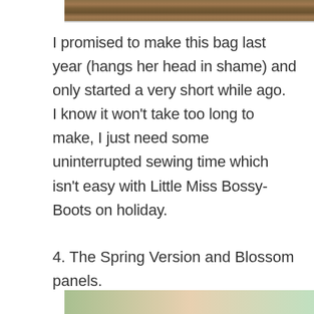[Figure (photo): Partial view of a wooden surface or table, cropped at top of page]
I promised to make this bag last year (hangs her head in shame) and only started a very short while ago.  I know it won't take too long to make, I just need some uninterrupted sewing time which isn't easy with Little Miss Bossy-Boots on holiday.
4. The Spring Version and Blossom panels.
[Figure (photo): Bottom partial image showing fabric panels with spring and blossom designs in green and pastel colors]